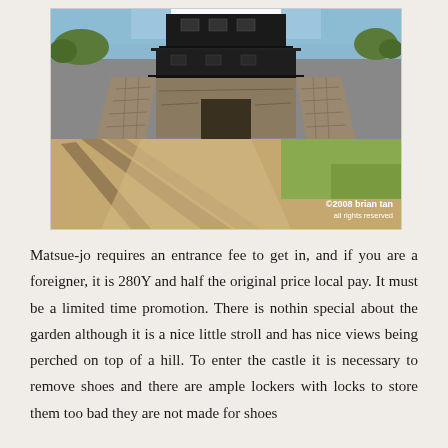[Figure (photo): Photograph of Matsue-jo (Matsue Castle), a Japanese castle with dark wooden upper stories on a stone foundation base, photographed from below. Tree shadows cast on the ground in the foreground. Green grass and trees visible to the right. Blue sky in background. Watermark reads '©2008 brian tan all rights reserved' in lower right corner.]
Matsue-jo requires an entrance fee to get in, and if you are a foreigner, it is 280Y and half the original price local pay. It must be a limited time promotion. There is nothin special about the garden although it is a nice little stroll and has nice views being perched on top of a hill. To enter the castle it is necessary to remove shoes and there are ample lockers with locks to store them too bad they are not made for shoes